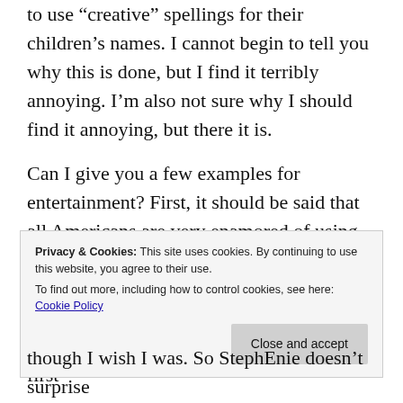to use “creative” spellings for their children’s names. I cannot begin to tell you why this is done, but I find it terribly annoying. I’m also not sure why I should find it annoying, but there it is.
Can I give you a few examples for entertainment? First, it should be said that all Americans are very enamored of using last nams for first names. Maybe this isn’t only American? I don’t know if it’s done elsewhere, but that’s not the part I mind. I think some last names can make very nice first
Privacy & Cookies: This site uses cookies. By continuing to use this website, you agree to their use. To find out more, including how to control cookies, see here: Cookie Policy
though I wish I was. So StephEnie doesn’t surprise